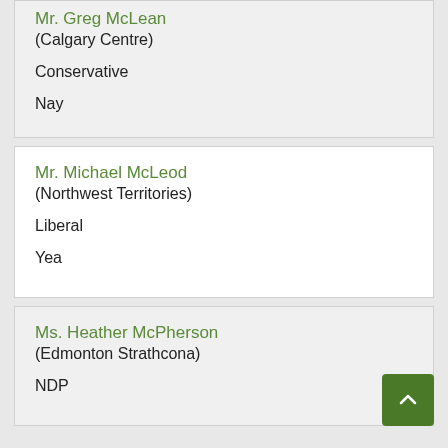Mr. Greg McLean (Calgary Centre) Conservative Nay
Mr. Michael McLeod (Northwest Territories) Liberal Yea
Ms. Heather McPherson (Edmonton Strathcona) NDP